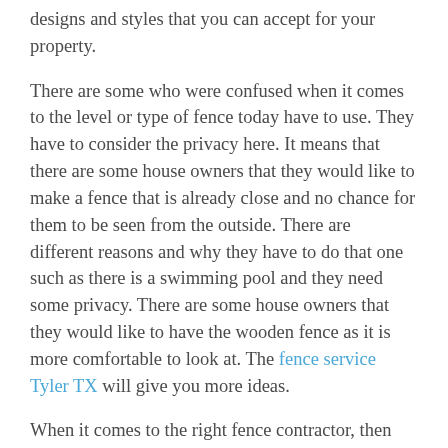designs and styles that you can accept for your property.
There are some who were confused when it comes to the level or type of fence today have to use. They have to consider the privacy here. It means that there are some house owners that they would like to make a fence that is already close and no chance for them to be seen from the outside. There are different reasons and why they have to do that one such as there is a swimming pool and they need some privacy. There are some house owners that they would like to have the wooden fence as it is more comfortable to look at. The fence service Tyler TX will give you more ideas.
When it comes to the right fence contractor, then they would tell you the total amount of installation costs. This is very important, especially that you are not aware of the different details when it comes to